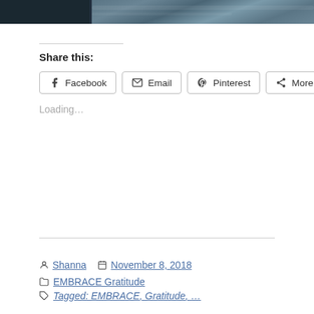[Figure (photo): Top strip of a photograph showing dark water or rocky seascape]
Share this:
Facebook  Email  Pinterest  More
Loading...
Shanna   November 8, 2018
EMBRACE Gratitude
Tagged: EMBRACE, Gratitude, ...